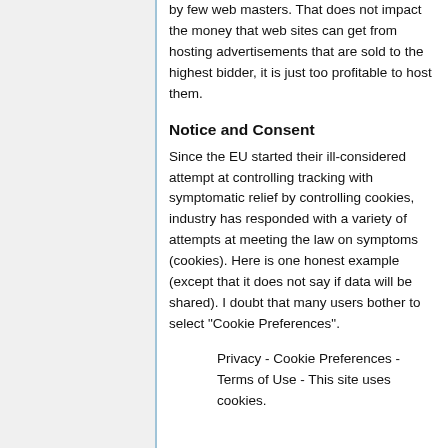by few web masters. That does not impact the money that web sites can get from hosting advertisements that are sold to the highest bidder, it is just too profitable to host them.
Notice and Consent
Since the EU started their ill-considered attempt at controlling tracking with symptomatic relief by controlling cookies, industry has responded with a variety of attempts at meeting the law on symptoms (cookies). Here is one honest example (except that it does not say if data will be shared). I doubt that many users bother to select "Cookie Preferences".
Privacy - Cookie Preferences - Terms of Use - This site uses cookies.